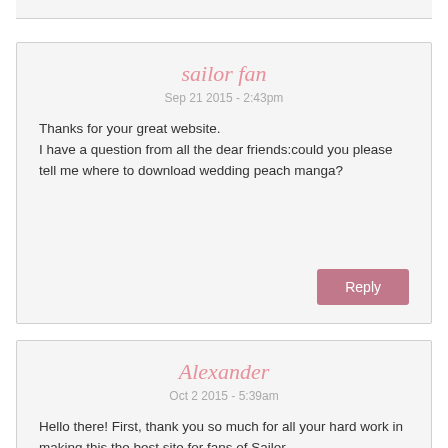sailor fan
Sep 21 2015 - 2:43pm
Thanks for your great website.
I have a question from all the dear friends:could you please tell me where to download wedding peach manga?
Reply
Alexander
Oct 2 2015 - 5:39am
Hello there! First, thank you so much for all your hard work in making this the best site for fans of Sailor